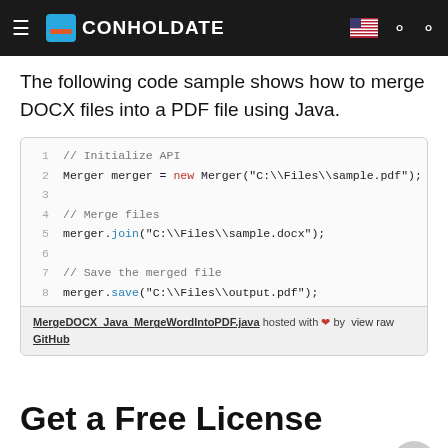CONHOLDATE
The following code sample shows how to merge DOCX files into a PDF file using Java.
[Figure (screenshot): Java code block showing how to merge DOCX files into a PDF file using the Merger API. Lines: 1: // Initialize API, 2: Merger merger = new Merger("C:\\Files\\sample.pdf");, 3: (blank), 4: // Merge files, 5: merger.join("C:\\Files\\sample.docx");, 6: (blank), 7: // Save the merged file, 8: merger.save("C:\\Files\\output.pdf"); Footer: MergeDOCX_Java_MergeWordIntoPDF.java hosted with heart by view raw GitHub]
Get a Free License